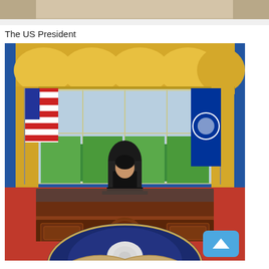[Figure (photo): Partial top image, cropped — appears to show an interior scene, upper portion only.]
The US President
[Figure (photo): A woman in a black outfit sitting behind the Resolute Desk in a replica of the Oval Office. The desk is ornate dark wood with presidential seal carving. American flag on the left, presidential flag on the right. Yellow curtains and painted windows in background. Red carpet and a partial view of the US Presidential seal rug in the foreground. A blue scroll-to-top button is overlaid in the lower right corner.]